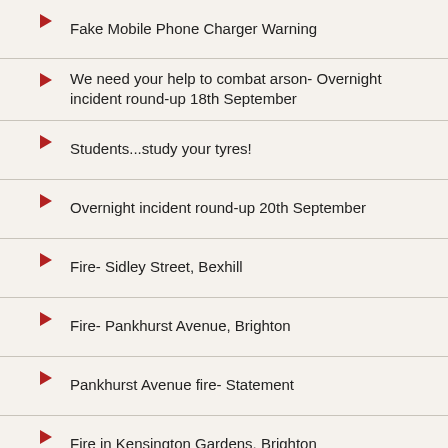Fake Mobile Phone Charger Warning
We need your help to combat arson- Overnight incident round-up 18th September
Students...study your tyres!
Overnight incident round-up 20th September
Fire- Sidley Street, Bexhill
Fire- Pankhurst Avenue, Brighton
Pankhurst Avenue fire- Statement
Fire in Kensington Gardens, Brighton
Business Fire Safety advice offered after restaurant fire
Deadline for on call firefighter job applications approaches